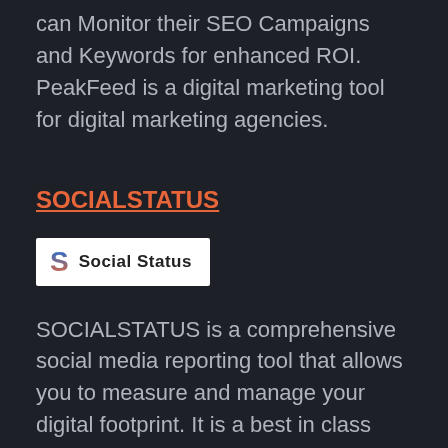can Monitor their SEO Campaigns and Keywords for enhanced ROI. PeakFeed is a digital marketing tool for digital marketing agencies.
SOCIALSTATUS
[Figure (logo): Social Status logo: blue/orange S icon followed by text 'Social Status' on white background]
SOCIALSTATUS is a comprehensive social media reporting tool that allows you to measure and manage your digital footprint. It is a best in class social media reporting platform that delivers real-time analytic insights via interactive and customizable PowerPoint presentations. It provides insights about your profiles, social networks, ad